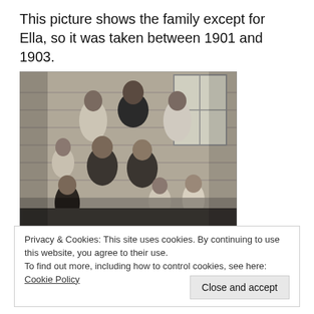This picture shows the family except for Ella, so it was taken between 1901 and 1903.
[Figure (photo): Black and white family portrait photograph taken outdoors in front of a wooden building, showing a group of approximately 9 people including adults and children, estimated to be from the early 1900s.]
Privacy & Cookies: This site uses cookies. By continuing to use this website, you agree to their use.
To find out more, including how to control cookies, see here: Cookie Policy